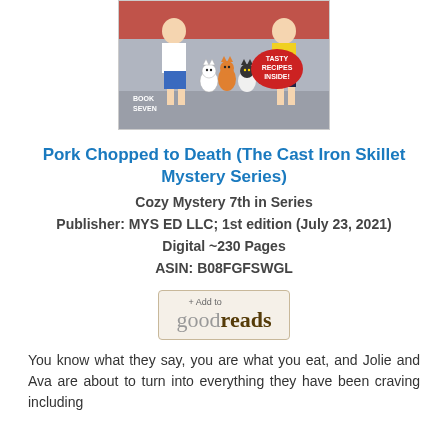[Figure (illustration): Book cover illustration showing cartoon figures of people with cats, text reads BOOK SEVEN and TASTY RECIPES INSIDE!]
Pork Chopped to Death (The Cast Iron Skillet Mystery Series)
Cozy Mystery 7th in Series
Publisher: MYS ED LLC; 1st edition (July 23, 2021)
Digital ~230 Pages
ASIN: B08FGFSWGL
[Figure (logo): + Add to goodreads button]
You know what they say, you are what you eat, and Jolie and Ava are about to turn into everything they have been craving including